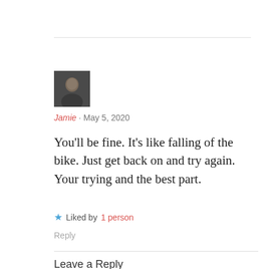[Figure (photo): Avatar photo of commenter Jamie, a person wearing a dark shirt, small square thumbnail]
Jamie · May 5, 2020
You'll be fine. It's like falling of the bike. Just get back on and try again. Your trying and the best part.
★ Liked by 1 person
Reply
Leave a Reply